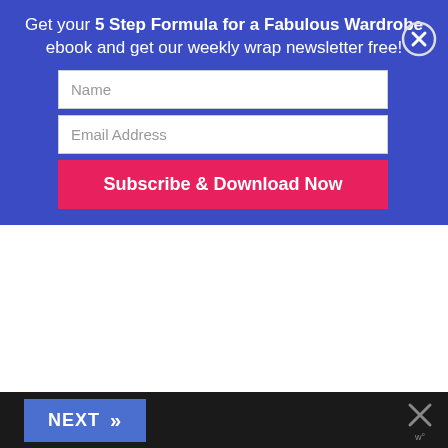Get your 5 Step Formula for a Fabulous Wardrobe ebook and get our weekly wrap newsletter free!
[Figure (screenshot): Email signup form with Name field, Email Address field, and Subscribe & Download Now button on a blue background. A circular X close button appears top-right.]
October 4, 2011 • 18 Comments
The Third piece is your hero, it's the accessory or piece of clothing that can add the excitement and personality to your outfit when everything else you're wearing are basics or supporting acts. Quite often it can be some sort of jacket, other times it will be a great piece of jewellery. The 3rd piece…
[Figure (screenshot): Bottom navigation bar with 'NEXT >>' button in blue on a dark background, and an X close icon on the right.]